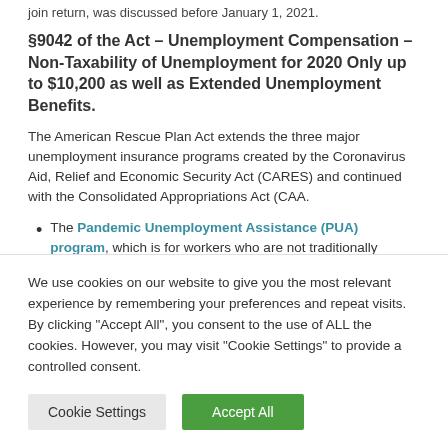join return, was discussed before January 1, 2021.
§9042 of the Act – Unemployment Compensation – Non-Taxability of Unemployment for 2020 Only up to $10,200 as well as Extended Unemployment Benefits.
The American Rescue Plan Act extends the three major unemployment insurance programs created by the Coronavirus Aid, Relief and Economic Security Act (CARES) and continued with the Consolidated Appropriations Act (CAA.
The Pandemic Unemployment Assistance (PUA) program, which is for workers who are not traditionally eligible for unemployment insurance (such as independent contractors),
We use cookies on our website to give you the most relevant experience by remembering your preferences and repeat visits. By clicking "Accept All", you consent to the use of ALL the cookies. However, you may visit "Cookie Settings" to provide a controlled consent.